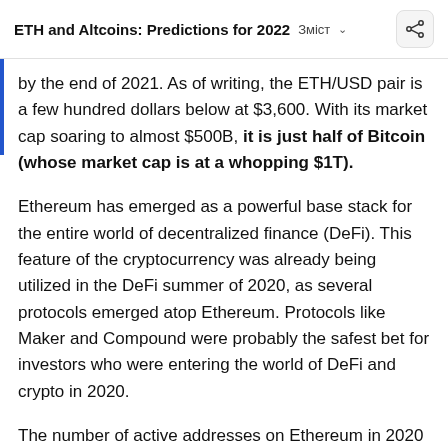ETH and Altcoins: Predictions for 2022  Зміст  ˅
by the end of 2021. As of writing, the ETH/USD pair is a few hundred dollars below at $3,600. With its market cap soaring to almost $500B, it is just half of Bitcoin (whose market cap is at a whopping $1T).
Ethereum has emerged as a powerful base stack for the entire world of decentralized finance (DeFi). This feature of the cryptocurrency was already being utilized in the DeFi summer of 2020, as several protocols emerged atop Ethereum. Protocols like Maker and Compound were probably the safest bet for investors who were entering the world of DeFi and crypto in 2020.
The number of active addresses on Ethereum in 2020